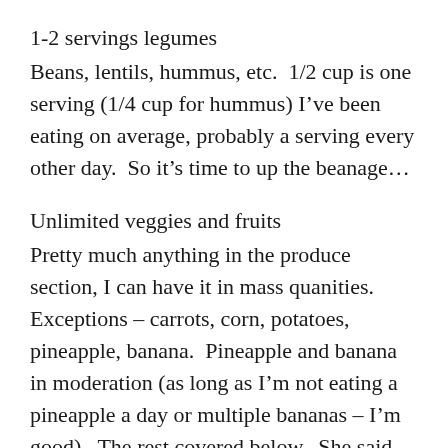1-2 servings legumes
Beans, lentils, hummus, etc.  1/2 cup is one serving (1/4 cup for hummus) I’ve been eating on average, probably a serving every other day.  So it’s time to up the beanage…
Unlimited veggies and fruits
Pretty much anything in the produce section, I can have it in mass quanities.  Exceptions – carrots, corn, potatoes, pineapple, banana.  Pineapple and banana in moderation (as long as I’m not eating a pineapple a day or multiple bananas – I’m good).  The rest covered below.  She said probably don’t go beyond 5ish servings of fruit a day, but we both agreed that probably wouldn’t be a problem.